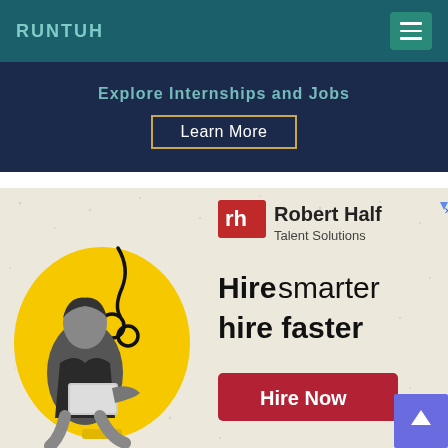RUNTUH
Explore Internships and Jobs
Learn More
[Figure (illustration): Robert Half Talent Solutions advertisement. Left side shows a woman in black and white holding a laptop, sitting in front of a large yellow lightbulb shape with a black cord/filament doodle. Right side shows the Robert Half logo (rh in red box), text 'Robert Half Talent Solutions', large text 'Hire smarter hire faster', and a red 'Hire Now' button. Background is a speckled beige/cream texture.]